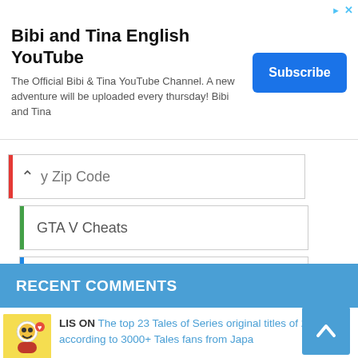[Figure (infographic): Advertisement banner for Bibi and Tina English YouTube channel with Subscribe button]
Bibi and Tina English YouTube
The Official Bibi & Tina YouTube Channel. A new adventure will be uploaded every thursday! Bibi and Tina
Subscribe
y Zip Code
GTA V Cheats
Roblox Gift Card Codes
RECENT COMMENTS
LIS ON The top 23 Tales of Series original titles of 2022, according to 3000+ Tales fans from Japan